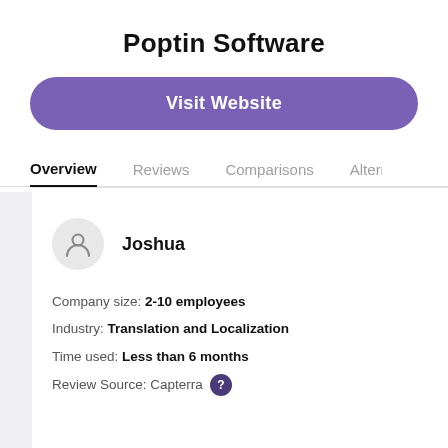Poptin Software
Visit Website
Overview
Reviews
Comparisons
Alternat
Joshua
Company size: 2-10 employees
Industry: Translation and Localization
Time used: Less than 6 months
Review Source: Capterra